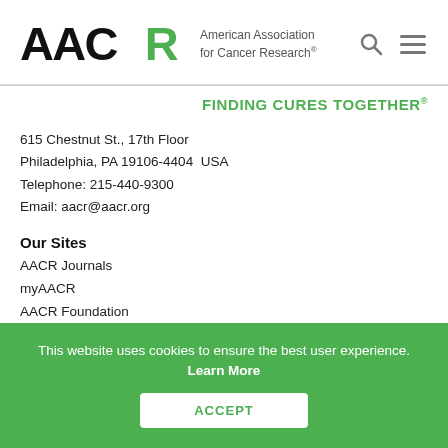[Figure (logo): AACR logo with green R and text 'American Association for Cancer Research' plus search and menu icons]
FINDING CURES TOGETHER®
615 Chestnut St., 17th Floor
Philadelphia, PA 19106-4404  USA
Telephone: 215-440-9300
Email: aacr@aacr.org
Our Sites
AACR Journals
myAACR
AACR Foundation
AACR Cancer Progress Reports
AACR Blog: Cancer Research Catalyst
Cancer Today Magazine
This website uses cookies to ensure the best user experience. Learn More
ACCEPT